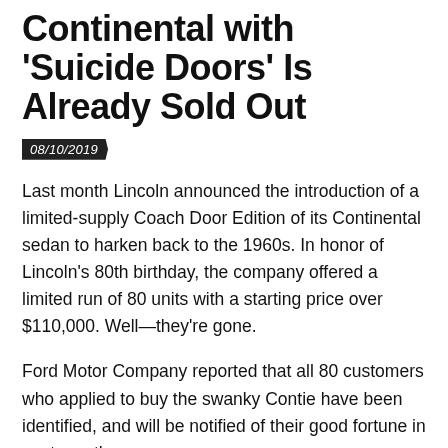Continental with 'Suicide Doors' Is Already Sold Out
08/10/2019
Last month Lincoln announced the introduction of a limited-supply Coach Door Edition of its Continental sedan to harken back to the 1960s. In honor of Lincoln's 80th birthday, the company offered a limited run of 80 units with a starting price over $110,000. Well—they're gone.
Ford Motor Company reported that all 80 customers who applied to buy the swanky Contie have been identified, and will be notified of their good fortune in next month.
"Response from customers has been extremely positive, with interest exceeding the planned production for the limited-edition run," the company said in a statement Monday. "The 80